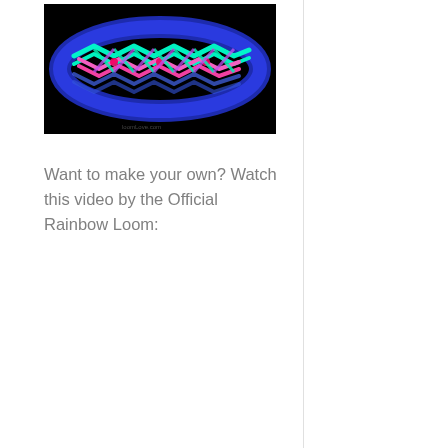[Figure (photo): A colorful Rainbow Loom bracelet glowing against a black background. The bracelet features a fishtail/chevron pattern with neon green, pink/magenta, and blue rubber bands arranged in a herringbone-like design.]
Want to make your own? Watch this video by the Official Rainbow Loom: